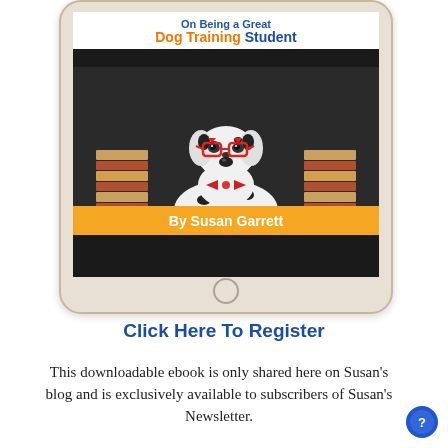[Figure (illustration): A tablet device displaying an ebook cover. The cover shows a Dalmatian dog wearing red glasses and a red bow tie, seated between two stacks of books. The title at the top reads 'Dog Training Student' in orange and blue text. At the bottom is an orange banner reading 'By Susan Garrett'.]
Click Here To Register
This downloadable ebook is only shared here on Susan's blog and is exclusively available to subscribers of Susan's Newsletter.